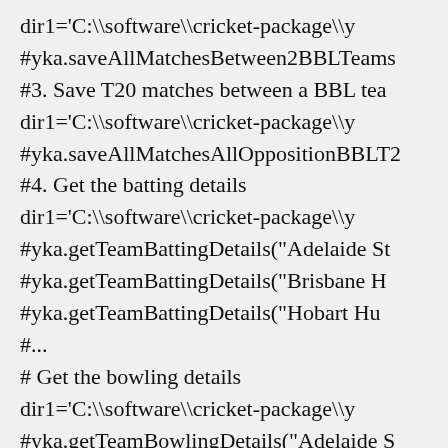dir1='C:\\software\\cricket-package\\y
#yka.saveAllMatchesBetween2BBLTeams
#3. Save T20 matches between a BBL tea
dir1='C:\\software\\cricket-package\\y
#yka.saveAllMatchesAllOppositionBBLT2
#4. Get the batting details
dir1='C:\\software\\cricket-package\\y
#yka.getTeamBattingDetails("Adelaide St
#yka.getTeamBattingDetails("Brisbane H
#yka.getTeamBattingDetails("Hobart Hu
#...
# Get the bowling details
dir1='C:\\software\\cricket-package\\y
#yka.getTeamBowlingDetails("Adelaide S